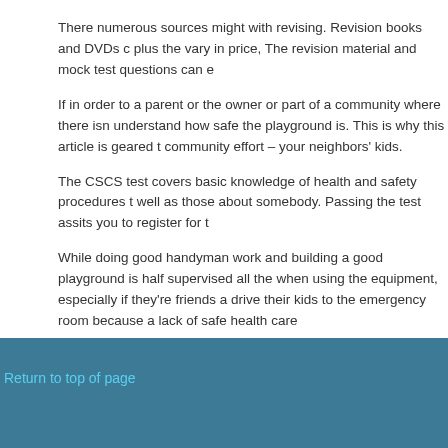There numerous sources might with revising. Revision books and DVDs c... plus the vary in price, The revision material and mock test questions can e...
If in order to a parent or the owner or part of a community where there isn... understand how safe the playground is. This is why this article is geared t... community effort – your neighbors' kids.
The CSCS test covers basic knowledge of health and safety procedures t... well as those about somebody. Passing the test assits you to register for t...
While doing good handyman work and building a good playground is half ... supervised all the when using the equipment, especially if they're friends a... drive their kids to the emergency room because a lack of safe health care...
Filed Under: Uncategorized
Return to top of page